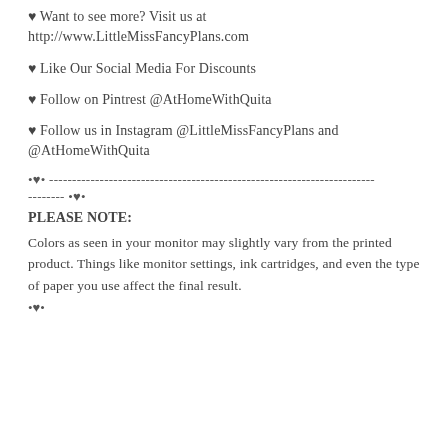♥ Want to see more? Visit us at http://www.LittleMissFancyPlans.com
♥ Like Our Social Media For Discounts
♥ Follow on Pintrest @AtHomeWithQuita
♥ Follow us in Instagram @LittleMissFancyPlans and @AtHomeWithQuita
•♥• -------------------------------------------------------------------- -------- •♥•
PLEASE NOTE:
Colors as seen in your monitor may slightly vary from the printed product. Things like monitor settings, ink cartridges, and even the type of paper you use affect the final result.
•♥•